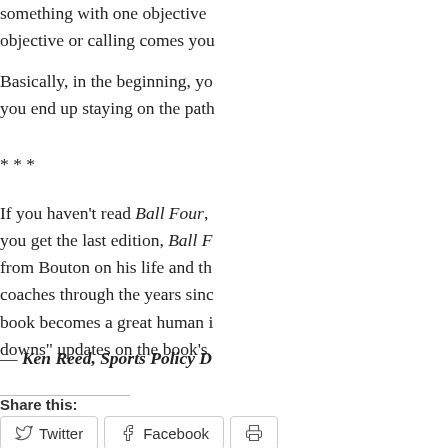something with one objective … objective or calling comes you…
Basically, in the beginning, yo… you end up staying on the path…
* * *
If you haven't read Ball Four, … you get the last edition, Ball F… from Bouton on his life and th… coaches through the years sinc… book becomes a great human i… downs" updates on the book's…
— Ken Reed, Sports Policy D…
Share this:
Twitter  Facebook  🖨